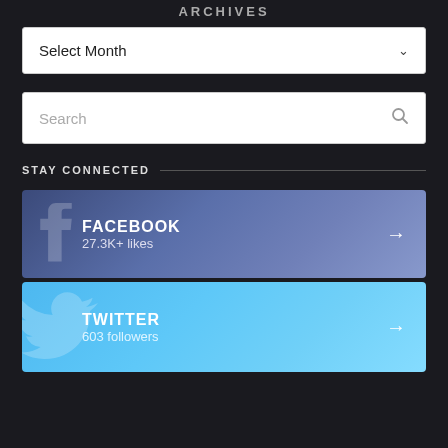ARCHIVES
Select Month
Search
STAY CONNECTED
FACEBOOK
27.3K+ likes
TWITTER
603 followers